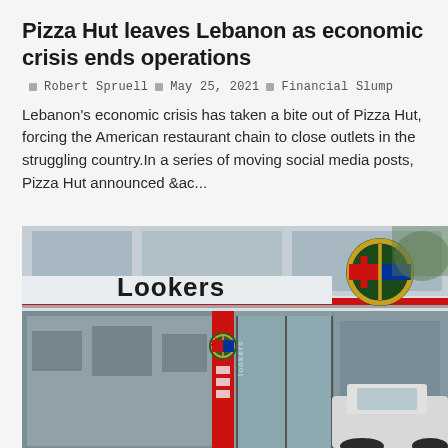Pizza Hut leaves Lebanon as economic crisis ends operations
Robert Spruell  •  May 25, 2021  •  Financial Slump
Lebanon's economic crisis has taken a bite out of Pizza Hut, forcing the American restaurant chain to close outlets in the struggling country.In a series of moving social media posts, Pizza Hut announced &ac...
[Figure (photo): Exterior of a Lookers Alfa Romeo car dealership, showing the storefront with 'Lookers' signage, the Alfa Romeo logo/badge, glass facade, entrance doors, and a white car partially visible at the bottom right.]